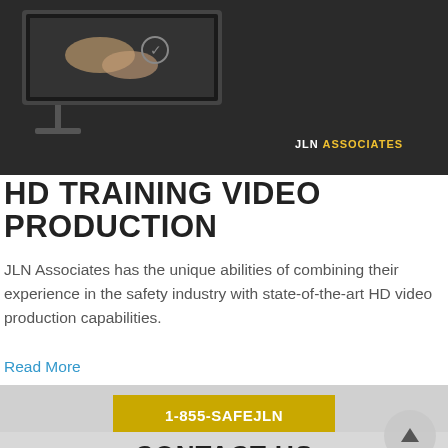[Figure (screenshot): Dark background hero image showing a monitor/computer screen with hands, and JLN Associates logo text in bottom right]
HD TRAINING VIDEO PRODUCTION
JLN Associates has the unique abilities of combining their experience in the safety industry with state-of-the-art HD video production capabilities.
Read More
1-855-SAFEJLN
CONTACT US
Day or night, we are there when you need. Whether you have an inquiry regarding a project or simply a question you need answering; we are your